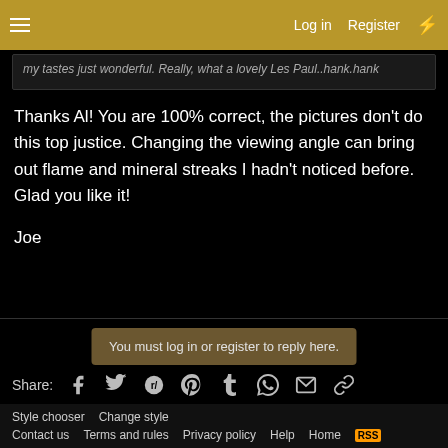Log in  Register
my tastes just wonderful. Really, what a lovely Les Paul..hank.hank
Thanks Al! You are 100% correct, the pictures don't do this top justice. Changing the viewing angle can bring out flame and mineral streaks I hadn't noticed before. Glad you like it!

Joe
You must log in or register to reply here.
Share:
Gibson Custom/Historic Les Paul District
Style chooser  Change style  Contact us  Terms and rules  Privacy policy  Help  Home